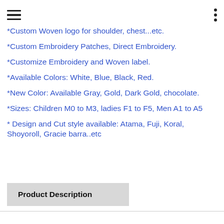*Custom Woven logo for shoulder, chest...etc.
*Custom Embroidery Patches, Direct Embroidery.
*Customize Embroidery and Woven label.
*Available Colors: White, Blue, Black, Red.
*New Color: Available Gray, Gold, Dark Gold, chocolate.
*Sizes: Children M0 to M3, ladies F1 to F5, Men A1 to A5
* Design and Cut style available: Atama, Fuji, Koral, Shoyoroll, Gracie barra..etc
Product Description